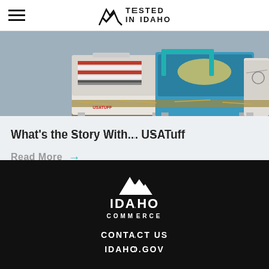Tested in Idaho
[Figure (photo): Display of multiple decorated USATuff coolers with colorful artwork including American flag, fish, and wildlife designs stacked and arranged together]
What's the Story With... USATuff
Read More →
IDAHO COMMERCE
CONTACT US
IDAHO.GOV